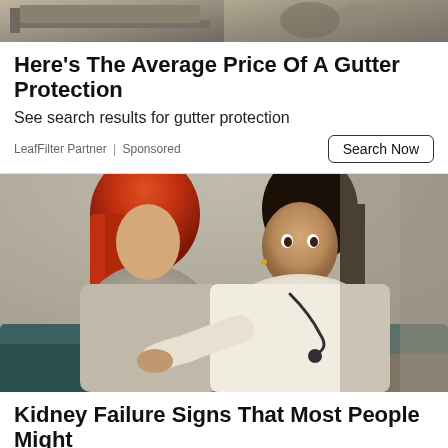[Figure (photo): Top banner image showing home gutters/roofing on the left and a cat on the right]
Here's The Average Price Of A Gutter Protection
See search results for gutter protection
LeafFilter Partner | Sponsored
[Figure (photo): A female doctor in a white coat with stethoscope examining a red-haired female patient who is seated with her back turned]
Kidney Failure Signs That Most People Might